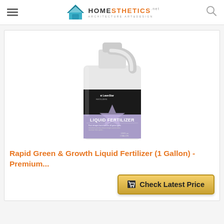Homesthetics - Architecture Art & Design
[Figure (photo): White plastic jug of LawnStar Rapid Green & Growth Liquid Fertilizer (1 Gallon) with black and purple label showing a large star graphic and text 'LIQUID FERTILIZER']
Rapid Green & Growth Liquid Fertilizer (1 Gallon) - Premium...
Check Latest Price